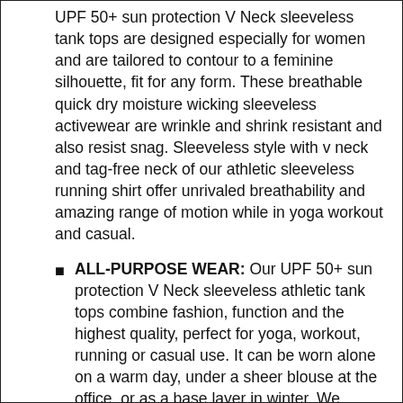UPF 50+ sun protection V Neck sleeveless tank tops are designed especially for women and are tailored to contour to a feminine silhouette, fit for any form. These breathable quick dry moisture wicking sleeveless activewear are wrinkle and shrink resistant and also resist snag. Sleeveless style with v neck and tag-free neck of our athletic sleeveless running shirt offer unrivaled breathability and amazing range of motion while in yoga workout and casual.
ALL-PURPOSE WEAR: Our UPF 50+ sun protection V Neck sleeveless athletic tank tops combine fashion, function and the highest quality, perfect for yoga, workout, running or casual use. It can be worn alone on a warm day, under a sheer blouse at the office, or as a base layer in winter. We believe in wearing BUBBLELIME sun protection soft